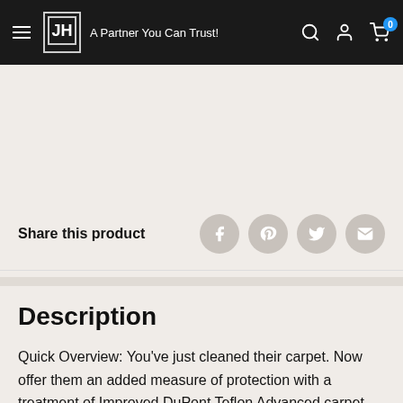JH Supply Co. – A Partner You Can Trust!
Share this product
Description
Quick Overview: You've just cleaned their carpet. Now offer them an added measure of protection with a treatment of Improved DuPont Teflon Advanced carpet protector. Features: You'll increase your customer's satisfaction! Here are some reasons why... 1. Stronger protection against oil-based spills and stains. 2. Outstanding dry